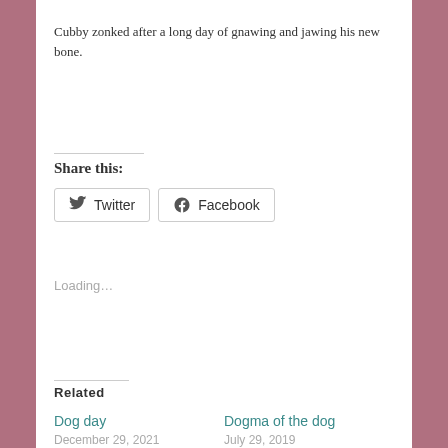Cubby zonked after a long day of gnawing and jawing his new bone.
Share this:
Twitter  Facebook
Loading...
Related
Dog day
December 29, 2021
In 'Animals'
Dogma of the dog
July 29, 2019
In 'Animals'
Fido meets the face mask